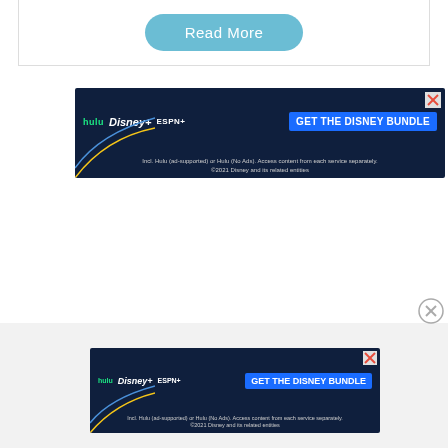[Figure (screenshot): A 'Read More' button with rounded corners in light blue/teal color, inside a card with border]
[Figure (screenshot): Disney Bundle advertisement banner showing Hulu, Disney+, ESPN+ logos with 'GET THE DISNEY BUNDLE' call to action button. Text: Incl. Hulu (ad-supported) or Hulu (No Ads). Access content from each service separately. ©2021 Disney and its related entities]
[Figure (screenshot): Circular close/dismiss button (X) on right side of page]
[Figure (screenshot): Smaller Disney Bundle advertisement banner at bottom showing same logos and 'GET THE DISNEY BUNDLE' with text: Incl. Hulu (ad-supported) or Hulu (No Ads). Access content from each service separately. ©2021 Disney and its related entities]